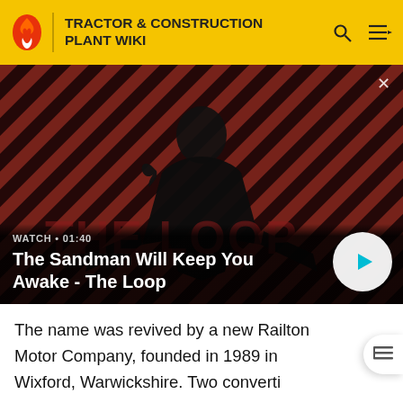TRACTOR & CONSTRUCTION PLANT WIKI
[Figure (screenshot): Video thumbnail: The Sandman Will Keep You Awake - The Loop. A dark-cloaked figure with a raven on shoulder against diagonal red and black striped background. Overlay shows WATCH • 01:40 and video title with play button.]
The name was revived by a new Railton Motor Company, founded in 1989 in Wixford, Warwickshire. Two converti models, the F28 Fairmile and the F29 Claremont were announced. Both were styled by William Towns and based on Jaguar XJS running gear with new aluminium